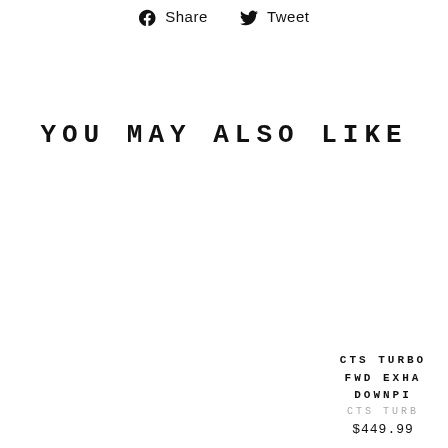Share  Tweet
YOU MAY ALSO LIKE
CTS TURBO FWD EXHA DOWNPI
CTS TURB
$449.99